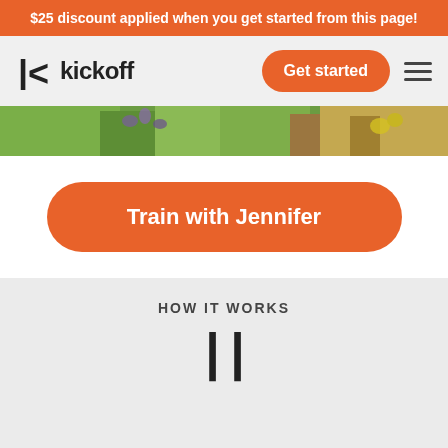$25 discount applied when you get started from this page!
[Figure (logo): Kickoff logo with stylized K icon and wordmark 'kickoff' in dark bold text]
Get started
[Figure (photo): Narrow horizontal strip showing an outdoor scene with green plants, purple and yellow wildflowers, and a person partially visible]
Train with Jennifer
HOW IT WORKS